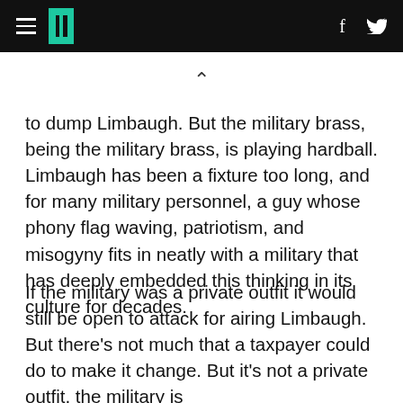HuffPost header with hamburger menu, logo, facebook and twitter icons
to dump Limbaugh. But the military brass, being the military brass, is playing hardball. Limbaugh has been a fixture too long, and for many military personnel, a guy whose phony flag waving, patriotism, and misogyny fits in neatly with a military that has deeply embedded this thinking in its culture for decades.
If the military was a private outfit it would still be open to attack for airing Limbaugh. But there's not much that a taxpayer could do to make it change. But it's not a private outfit, the military is